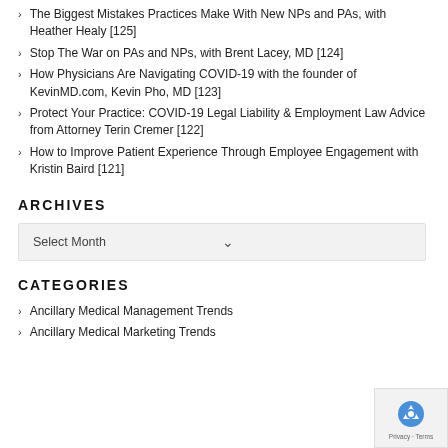The Biggest Mistakes Practices Make With New NPs and PAs, with Heather Healy [125]
Stop The War on PAs and NPs, with Brent Lacey, MD [124]
How Physicians Are Navigating COVID-19 with the founder of KevinMD.com, Kevin Pho, MD [123]
Protect Your Practice: COVID-19 Legal Liability & Employment Law Advice from Attorney Terin Cremer [122]
How to Improve Patient Experience Through Employee Engagement with Kristin Baird [121]
ARCHIVES
Select Month
CATEGORIES
Ancillary Medical Management Trends
Ancillary Medical Marketing Trends